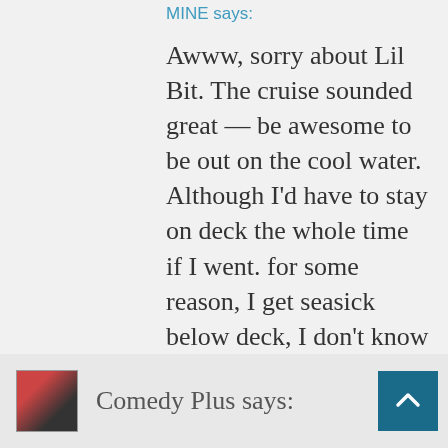MINE says:
Awww, sorry about Lil Bit. The cruise sounded great — be awesome to be out on the cool water. Although I'd have to stay on deck the whole time if I went. for some reason, I get seasick below deck, I don't know why.
Loading...
Reply
May 17, 2018 @ 1:46 pm at 1:46 pm
Comedy Plus says: